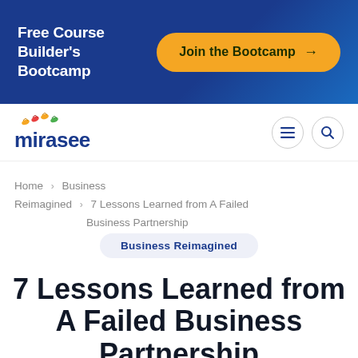[Figure (infographic): Blue banner advertisement for Free Course Builder's Bootcamp with a yellow rounded button saying 'Join the Bootcamp →']
[Figure (logo): Mirasee logo with colorful bird icons above the text 'mirasee' in dark blue]
Home > Business Reimagined > 7 Lessons Learned from A Failed Business Partnership
Business Reimagined
7 Lessons Learned from A Failed Business Partnership